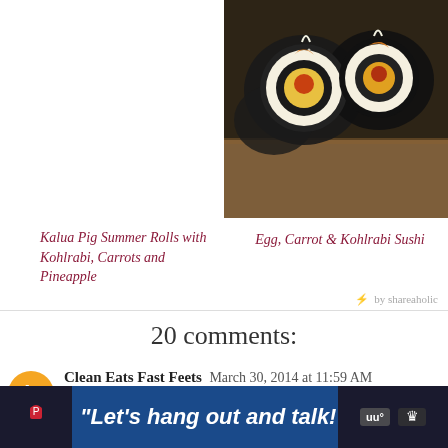[Figure (photo): Photo of sushi rolls (egg, carrot and kohlrabi) on a wooden board, top-right quadrant]
Kalua Pig Summer Rolls with Kohlrabi, Carrots and Pineapple
Egg, Carrot & Kohlrabi Sushi
by shareaholic
20 comments:
Clean Eats Fast Feets  March 30, 2014 at 11:59 AM
I like the detailed picture at the end with the mysterious arrow to the dogs who are hanging out off camera.
I had rice earlier this week at a Lebanese restaurant with pine nuts and almond slivers mixed right in. It was delicious and this mixture of rice and shredded carrots reminds me of it. Not sure why, other than they both look and sound good.
“Let’s hang out and talk!”